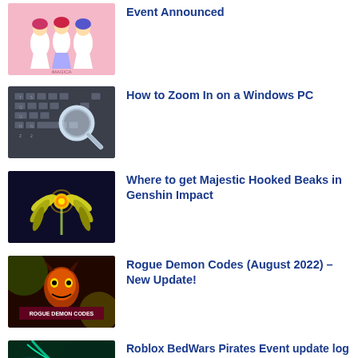Event Announced
How to Zoom In on a Windows PC
Where to get Majestic Hooked Beaks in Genshin Impact
Rogue Demon Codes (August 2022) – New Update!
Roblox BedWars Pirates Event update log and patch notes